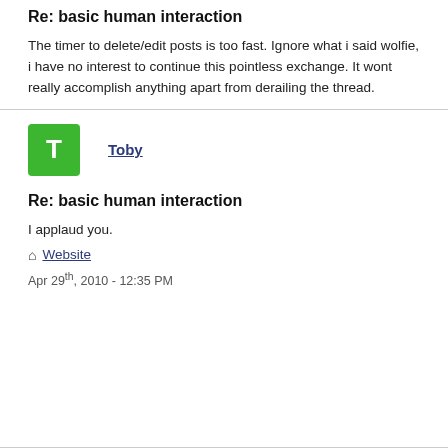Re: basic human interaction
The timer to delete/edit posts is too fast. Ignore what i said wolfie, i have no interest to continue this pointless exchange. It wont really accomplish anything apart from derailing the thread.
[Figure (other): Green avatar with letter T for user Toby]
Toby
Re: basic human interaction
I applaud you.
Website
Apr 29th, 2010 - 12:35 PM